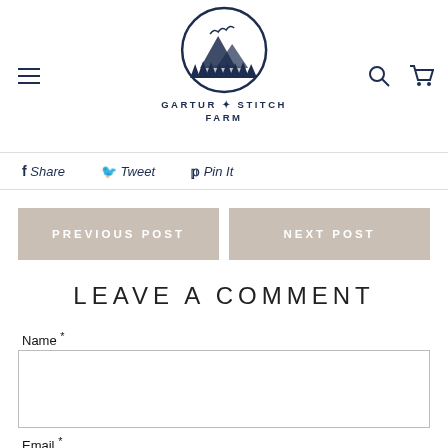[Figure (logo): Gartur Stitch Farm circular logo with mountain and trees scene, dark navy blue]
GARTUR ✦ STITCH
FARM
f Share   🐦 Tweet   p Pin It
PREVIOUS POST
NEXT POST
LEAVE A COMMENT
Name *
Email *